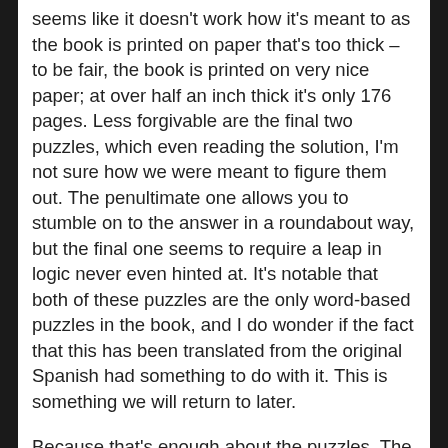seems like it doesn't work how it's meant to as the book is printed on paper that's too thick – to be fair, the book is printed on very nice paper; at over half an inch thick it's only 176 pages. Less forgivable are the final two puzzles, which even reading the solution, I'm not sure how we were meant to figure them out. The penultimate one allows you to stumble on to the answer in a roundabout way, but the final one seems to require a leap in logic never even hinted at. It's notable that both of these puzzles are the only word-based puzzles in the book, and I do wonder if the fact that this has been translated from the original Spanish had something to do with it. This is something we will return to later.
Because that's enough about the puzzles. The puzzles make up less than half the book, the rest of it is a story, so we should talk about the story and the writing. And here is where things really fell down for me. I mean it starts okay: we learn about who our heroine is and why she is stuck where she is. And we learn about our antagonist and what he is trying to do. Early on we